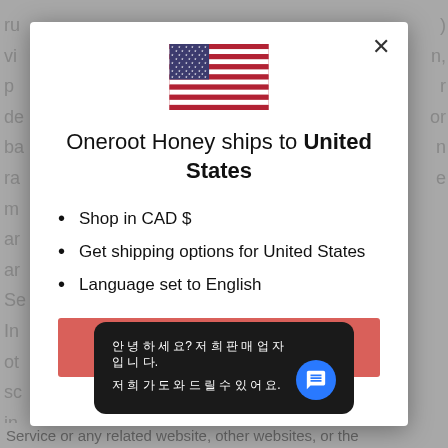[Figure (screenshot): Modal dialog on a website showing a US flag, shipping destination notice, bullet points, and a shop now button with a chat widget overlay]
Oneroot Honey ships to United States
Shop in CAD $
Get shipping options for United States
Language set to English
SHOP NOW
CHANGE S[TORE/HIPPING] LANGUAGE